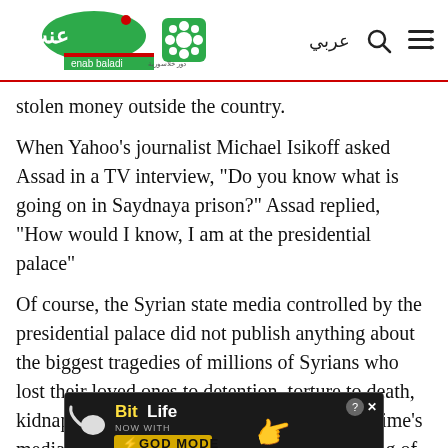Enab Baladi - عربي
stolen money outside the country.
When Yahoo's journalist Michael Isikoff asked Assad in a TV interview, "Do you know what is going on in Saydnaya prison?" Assad replied, "How would I know, I am at the presidential palace"
Of course, the Syrian state media controlled by the presidential palace did not publish anything about the biggest tragedies of millions of Syrians who lost their loved ones to detention, torture to death, kidnapping and disappearance. Today, the regime's media is campaigning to highlight the suffering of Syrians... me to talk about it, on condition to blame the US, European
[Figure (other): BitLife advertisement banner with 'NOW WITH GOD MODE' text and yellow lightning bolt graphics]